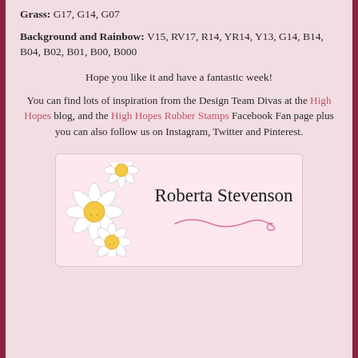Grass: G17, G14, G07
Background and Rainbow: V15, RV17, R14, YR14, Y13, G14, B14, B04, B02, B01, B00, B000
Hope you like it and have a fantastic week!
You can find lots of inspiration from the Design Team Divas at the High Hopes blog, and the High Hopes Rubber Stamps Facebook Fan page plus you can also follow us on Instagram, Twitter and Pinterest.
[Figure (illustration): Signature box with daisy flowers and cursive text reading Roberta Stevenson with a pink swirl decoration]